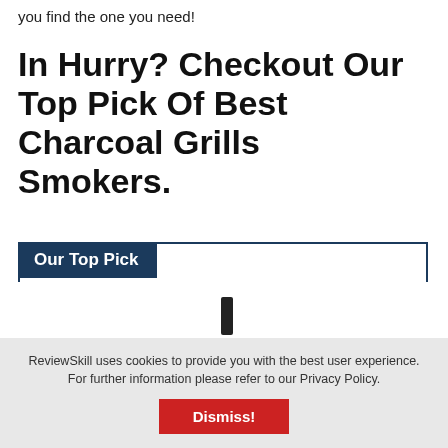you find the one you need!
In Hurry? Checkout Our Top Pick Of Best Charcoal Grills Smokers.
Our Top Pick
[Figure (photo): A black charcoal grill smoker with cylindrical body and chimney stack, shown on white background inside a bordered card.]
ReviewSkill uses cookies to provide you with the best user experience. For further information please refer to our Privacy Policy.
Dismiss!